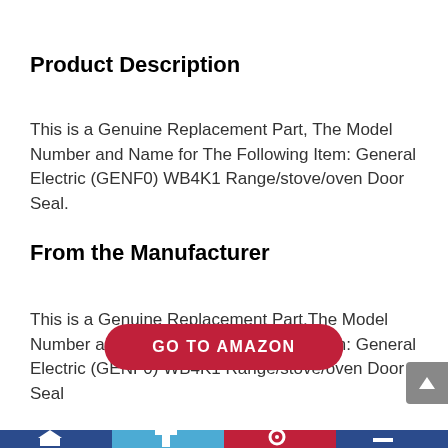Product Description
This is a Genuine Replacement Part, The Model Number and Name for The Following Item: General Electric (GENF0) WB4K1 Range/stove/oven Door Seal.
From the Manufacturer
This is a Genuine Replacement Part,The Model Number and Name for The Following Item: General Electric (GENF0) WB4K1 Range/stove/oven Door Seal